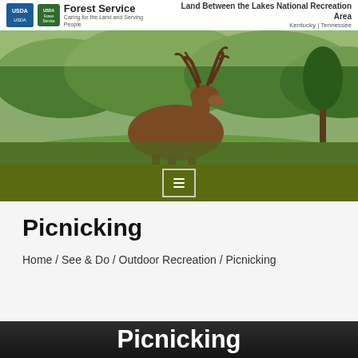USDA Forest Service – Caring for the Land and Serving People | Land Between the Lakes National Recreation Area Kentucky | Tennessee
[Figure (photo): A large elk with full antlers resting in a green meadow with forested hills in the background – hero banner image for the Land Between the Lakes National Recreation Area website Picnicking page.]
Picnicking
Home / See & Do / Outdoor Recreation / Picnicking
Picnicking